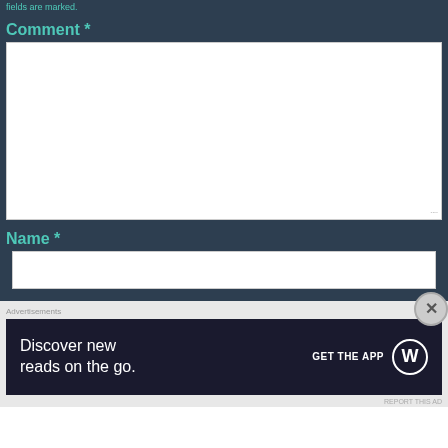fields are marked.
Comment *
[Figure (screenshot): Comment text area input box, white background with resize handle]
Name *
[Figure (screenshot): Name text input box, white background]
Advertisements
[Figure (illustration): Advertisement banner: Discover new reads on the go. GET THE APP with WordPress logo]
REPORT THIS AD